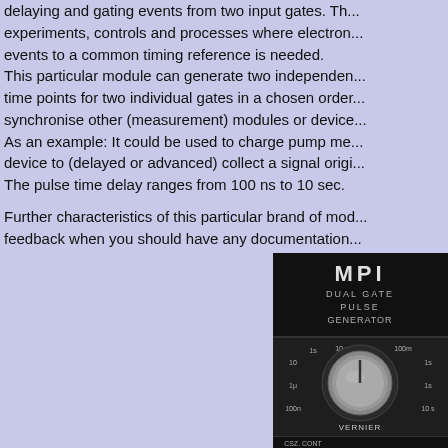delaying and gating events from two input gates. T... experiments, controls and processes where electro... events to a common timing reference is needed. This particular module can generate two independe... time points for two individual gates in a chosen orde... synchronise other (measurement) modules or devic... As an example: It could be used to charge pump m... device to (delayed or advanced) collect a signal orig... The pulse time delay ranges from 100 ns to 10 sec.
Further characteristics of this particular brand of mo... feedback when you should have any documentation...
[Figure (photo): Photo of an MPI Dual Gate Pulse Generator device panel showing a knob with time range settings and labels VERNIER and CSZ CONT.]